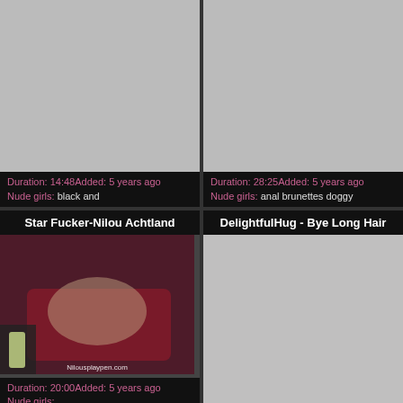[Figure (photo): Gray placeholder thumbnail, top-left video card]
Duration: 14:48Added: 5 years ago
Nude girls: black and
[Figure (photo): Gray placeholder thumbnail, top-right video card]
Duration: 28:25Added: 5 years ago
Nude girls: anal brunettes doggy
Star Fucker-Nilou Achtland
DelightfulHug - Bye Long Hair
[Figure (photo): Video thumbnail showing adult content, watermark: Nilousplaypen.com]
Duration: 20:00Added: 5 years ago
Nude girls:
[Figure (photo): Gray placeholder thumbnail, bottom-right video card]